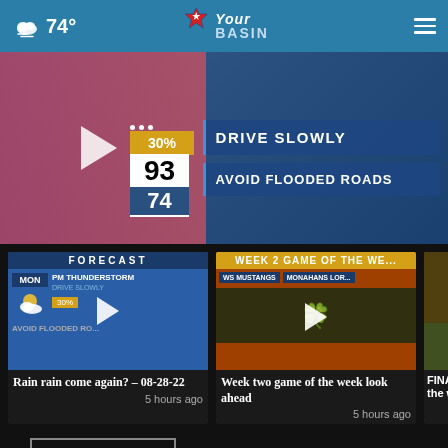74° YourBasin
[Figure (screenshot): Weather broadcast video screenshot showing a meteorologist with weather overlay: 30% precipitation, high 93, low 74, DRIVE SLOWLY, AVOID FLOODED ROADS]
[Figure (screenshot): Forecast video thumbnail showing MON thunderstorm forecast]
Rain rain come again? – 08-28-22
5 hours ago
[Figure (screenshot): Week 2 game of the week look ahead video thumbnail]
Week two game of the week look ahead
5 hours ago
[Figure (screenshot): Partial video thumbnail for FINAL of the week]
FINAL f the w
More Videos ›